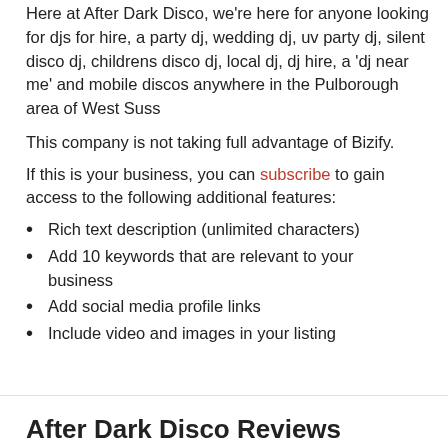Here at After Dark Disco, we're here for anyone looking for djs for hire, a party dj, wedding dj, uv party dj, silent disco dj, childrens disco dj, local dj, dj hire, a 'dj near me' and mobile discos anywhere in the Pulborough area of West Suss
This company is not taking full advantage of Bizify.
If this is your business, you can subscribe to gain access to the following additional features:
Rich text description (unlimited characters)
Add 10 keywords that are relevant to your business
Add social media profile links
Include video and images in your listing
After Dark Disco Reviews
Five stars